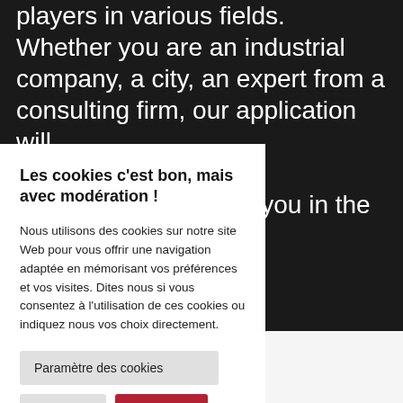players in various fields. Whether you are an industrial company, a city, an expert from a consulting firm, our application will you in the
Les cookies c'est bon, mais avec modération !
Nous utilisons des cookies sur notre site Web pour vous offrir une navigation adaptée en mémorisant vos préférences et vos visites. Dites nous si vous consentez à l'utilisation de ces cookies ou indiquez nous vos choix directement.
Paramètre des cookies
Refuser tout
Accepter tout